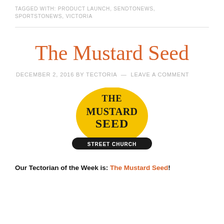TAGGED WITH: PRODUCT LAUNCH, SENDTONEWS, SPORTSTONEWS, VICTORIA
The Mustard Seed
DECEMBER 2, 2016 BY TECTORIA — LEAVE A COMMENT
[Figure (logo): The Mustard Seed Street Church logo — yellow stylized text on black background]
Our Tectorian of the Week is: The Mustard Seed!